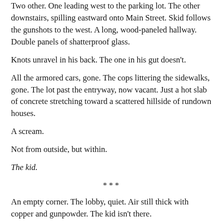Two other. One leading west to the parking lot. The other downstairs, spilling eastward onto Main Street. Skid follows the gunshots to the west. A long, wood-paneled hallway. Double panels of shatterproof glass.
Knots unravel in his back. The one in his gut doesn't.
All the armored cars, gone. The cops littering the sidewalks, gone. The lot past the entryway, now vacant. Just a hot slab of concrete stretching toward a scattered hillside of rundown houses.
A scream.
Not from outside, but within.
The kid.
***
An empty corner. The lobby, quiet. Air still thick with copper and gunpowder. The kid isn't there.